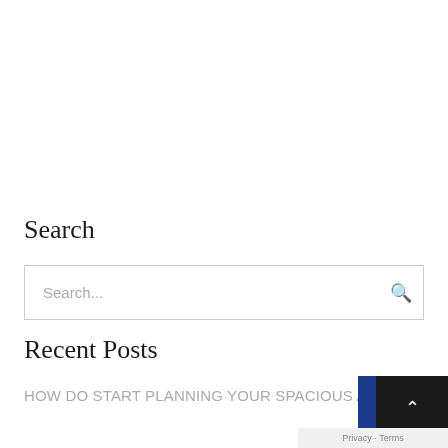Search
Search...
Recent Posts
HOW DO START PLANNING YOUR SPACIOUS AREA?